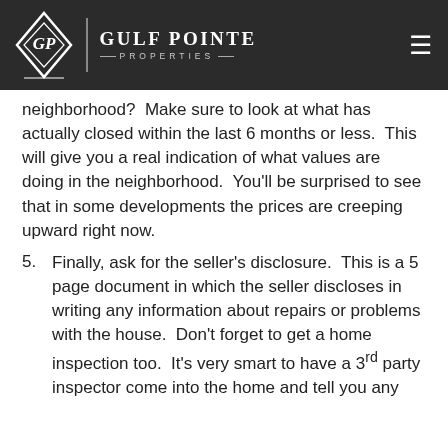Gulf Pointe Properties
neighborhood?  Make sure to look at what has actually closed within the last 6 months or less.  This will give you a real indication of what values are doing in the neighborhood.  You'll be surprised to see that in some developments the prices are creeping upward right now.
5. Finally, ask for the seller's disclosure.  This is a 5 page document in which the seller discloses in writing any information about repairs or problems with the house.  Don't forget to get a home inspection too.  It's very smart to have a 3rd party inspector come into the home and tell you any